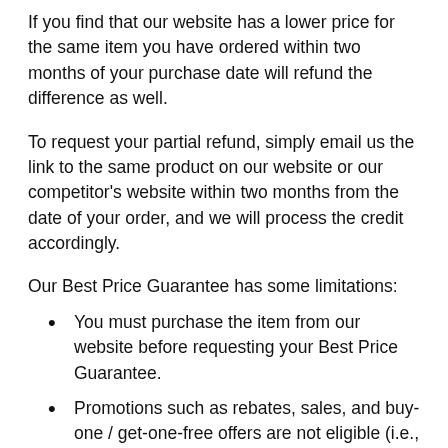If you find that our website has a lower price for the same item you have ordered within two months of your purchase date will refund the difference as well.
To request your partial refund, simply email us the link to the same product on our website or our competitor's website within two months from the date of your order, and we will process the credit accordingly.
Our Best Price Guarantee has some limitations:
You must purchase the item from our website before requesting your Best Price Guarantee.
Promotions such as rebates, sales, and buy-one / get-one-free offers are not eligible (i.e., Holiday Sales, Black Friday, Cyber Monday, etc.)